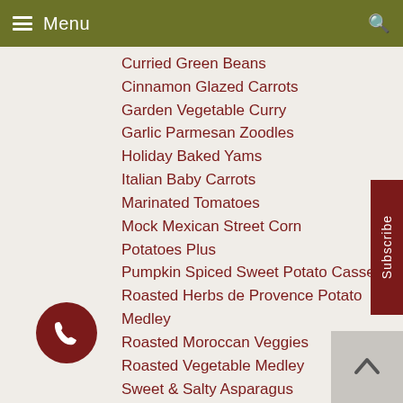Menu
Curried Green Beans
Cinnamon Glazed Carrots
Garden Vegetable Curry
Garlic Parmesan Zoodles
Holiday Baked Yams
Italian Baby Carrots
Marinated Tomatoes
Mock Mexican Street Corn
Potatoes Plus
Pumpkin Spiced Sweet Potato Casserole
Roasted Herbs de Provence Potato Medley
Roasted Moroccan Veggies
Roasted Vegetable Medley
Sweet & Salty Asparagus
Sweet Potato Fries with Curry Dip
Entrées
Beef
Classic Chili
Company Meat Loaf
Steak Marinade
Best Ever! SG Steak Marinade
Top Secret Hamburger Patties
Chicken
Berbere Spice Blend
Buttermilk Marinade
Cajun Blackened Chicken Wings
Cheesy Chicken Rolls
Chicken Pieces
Chicken Rub
Easy Chicken Marinade
Oven Baked Greek Chicken
Peanut Ginger Sauté